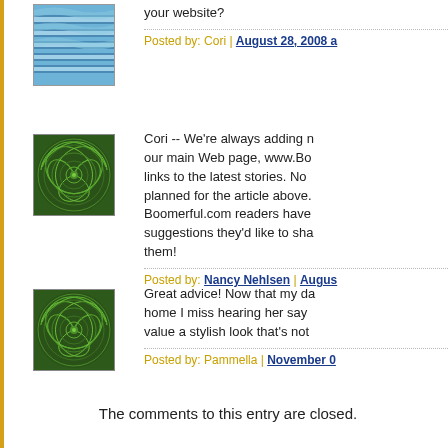your website?
Posted by: Cori | August 28, 2008 a...
[Figure (illustration): Green spiral mandala avatar for Nancy Nehlsen]
Cori -- We're always adding new content to our main Web page, www.Bo... links to the latest stories. No... planned for the article above. Boomerful.com readers have... suggestions they'd like to sha... them!
Posted by: Nancy Nehlsen | Augus...
[Figure (illustration): Green spiral mandala avatar for Pammella]
Great advice! Now that my da... home I miss hearing her say... value a stylish look that's not...
Posted by: Pammella | November 0...
The comments to this entry are closed.